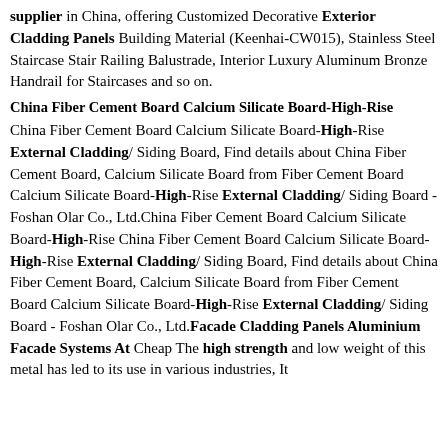supplier in China, offering Customized Decorative Exterior Cladding Panels Building Material (Keenhai-CW015), Stainless Steel Staircase Stair Railing Balustrade, Interior Luxury Aluminum Bronze Handrail for Staircases and so on.
China Fiber Cement Board Calcium Silicate Board-High-Rise
China Fiber Cement Board Calcium Silicate Board-High-Rise External Cladding/ Siding Board, Find details about China Fiber Cement Board, Calcium Silicate Board from Fiber Cement Board Calcium Silicate Board-High-Rise External Cladding/ Siding Board - Foshan Olar Co., Ltd.China Fiber Cement Board Calcium Silicate Board-High-Rise China Fiber Cement Board Calcium Silicate Board-High-Rise External Cladding/ Siding Board, Find details about China Fiber Cement Board, Calcium Silicate Board from Fiber Cement Board Calcium Silicate Board-High-Rise External Cladding/ Siding Board - Foshan Olar Co., Ltd.Facade Cladding Panels Aluminium Facade Systems At Cheap The high strength and low weight of this metal has led to its use in various industries, It